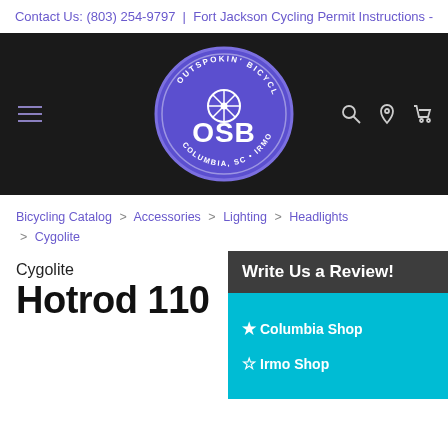Contact Us: (803) 254-9797 | Fort Jackson Cycling Permit Instructions -
[Figure (logo): Outspokin' Bicycles OSB logo — purple oval with bicycle wheel motif, text COLUMBIA, SC • IRMO, SC]
Bicycling Catalog > Accessories > Lighting > Headlights > Cygolite
Cygolite
Hotrod 110
[Figure (other): Write Us a Review panel with Columbia Shop and Irmo Shop links on teal background]